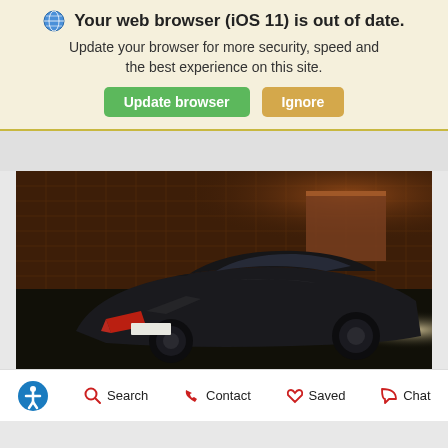Your web browser (iOS 11) is out of date. Update your browser for more security, speed and the best experience on this site.
[Figure (screenshot): Two buttons: green 'Update browser' and orange 'Ignore']
[Figure (photo): Dark luxury sedan car photographed at night from rear three-quarter angle, with warm orange background lighting and city warehouse setting]
Accessibility icon | Search | Contact | Saved | Chat